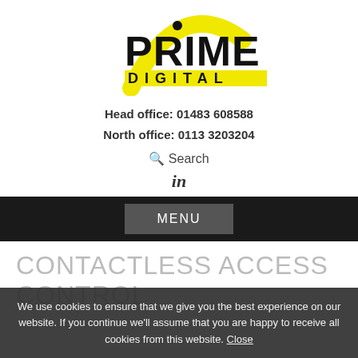[Figure (logo): Prime Digital logo with yellow arc and black bold text PRIME above DIGITAL on a yellow bar]
Head office: 01483 608588
North office: 0113 3203204
Search
[Figure (other): LinkedIn 'in' icon]
MENU
CONTACTLESS ACCESS CONTROL
We use cookies to ensure that we give you the best experience on our website. If you continue we'll assume that you are happy to receive all cookies from this website. Close